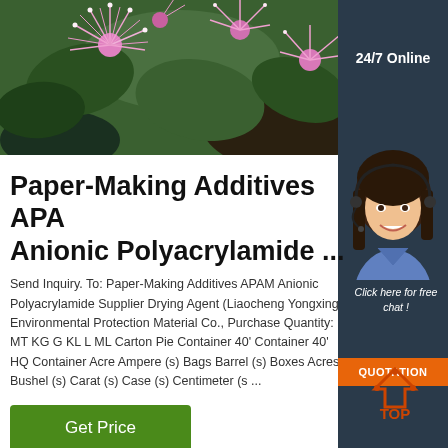[Figure (photo): Close-up photo of pink fluffy flowers with green leaves in background]
[Figure (photo): Customer service agent woman with headset smiling, with '24/7 Online' text overlay and 'Click here for free chat!' button and orange QUOTATION button]
Paper-Making Additives APAM Anionic Polyacrylamide ...
Send Inquiry. To: Paper-Making Additives APAM Anionic Polyacrylamide Supplier Drying Agent (Liaocheng Yongxing Environmental Protection Material Co., Purchase Quantity: MT KG G KL L ML Carton Piece Container 40' Container 40' HQ Container Acre Ampere (s) Bags Barrel (s) Boxes Acres Bushel (s) Carat (s) Case (s) Centimeter (s ...
[Figure (other): TOP icon with orange triangle/house shape and TOP text in orange]
Get Price